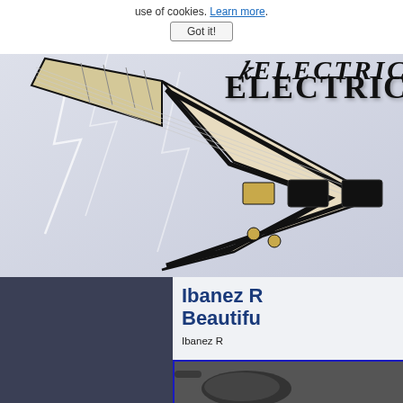use of cookies. Learn more. Got it!
[Figure (illustration): Website banner showing an electric guitar (star/V-shape body, cream and black with gold hardware) against a lightning bolt background, with stylized gothic text 'ELECTRIC' in the upper right]
Ibanez R... Beautifu...
Ibanez R...
[Figure (photo): Partial photo of a dark electric guitar body shown inside a blue-bordered box]